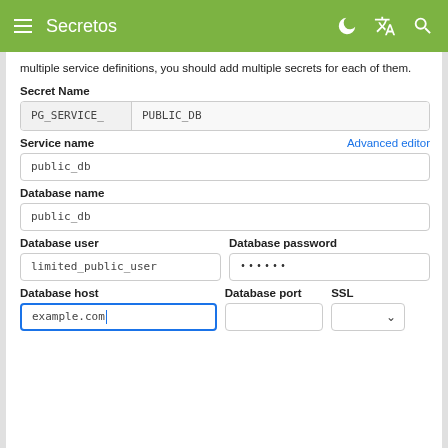Secretos
multiple service definitions, you should add multiple secrets for each of them.
Secret Name
PG_SERVICE_ | PUBLIC_DB
Service name | Advanced editor
public_db
Database name
public_db
Database user | Database password
limited_public_user | ••••••
Database host | Database port | SSL
example.com